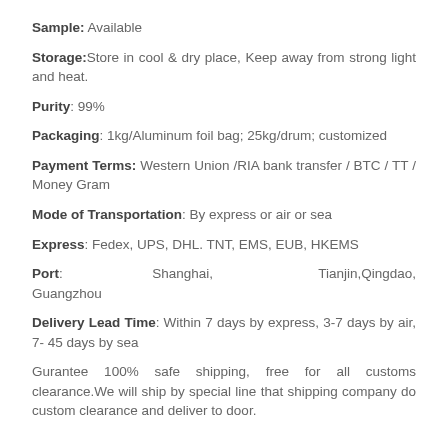Sample: Available
Storage: Store in cool & dry place, Keep away from strong light and heat.
Purity: 99%
Packaging: 1kg/Aluminum foil bag; 25kg/drum; customized
Payment Terms: Western Union /RIA bank transfer / BTC / TT / Money Gram
Mode of Transportation: By express or air or sea
Express: Fedex, UPS, DHL. TNT, EMS, EUB, HKEMS
Port: Shanghai, Tianjin, Qingdao, Guangzhou
Delivery Lead Time: Within 7 days by express, 3-7 days by air, 7- 45 days by sea
Gurantee 100% safe shipping, free for all customs clearance. We will ship by special line that shipping company do custom clearance and deliver to door.